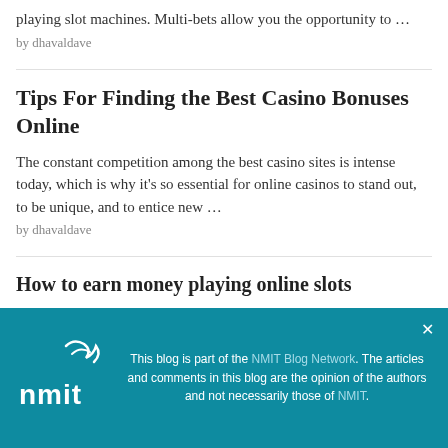playing slot machines. Multi-bets allow you the opportunity to …
by dhavaldave
Tips For Finding the Best Casino Bonuses Online
The constant competition among the best casino sites is intense today, which is why it's so essential for online casinos to stand out, to be unique, and to entice new …
by dhavaldave
How to earn money playing online slots
This blog is part of the NMIT Blog Network. The articles and comments in this blog are the opinion of the authors and not necessarily those of NMIT.